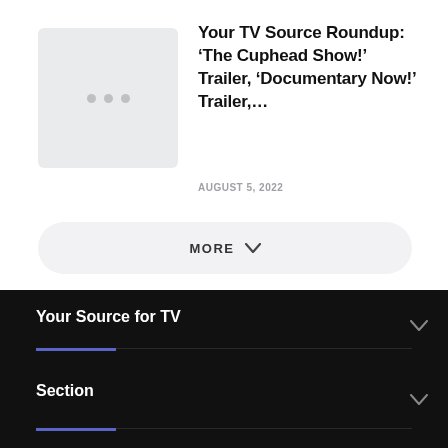[Figure (screenshot): Thumbnail placeholder with three grey dots]
Your TV Source Roundup: ‘The Cuphead Show!’ Trailer, ‘Documentary Now!’ Trailer,…
AUGUST 5, 2022
MORE
Your Source for TV
Section